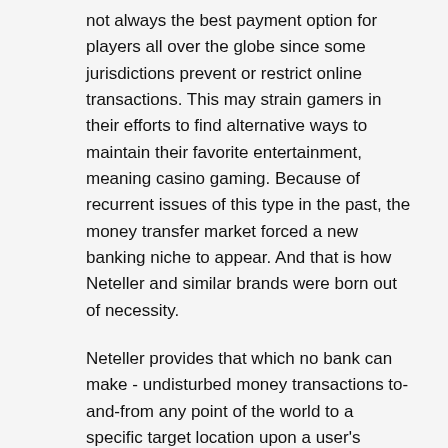not always the best payment option for players all over the globe since some jurisdictions prevent or restrict online transactions. This may strain gamers in their efforts to find alternative ways to maintain their favorite entertainment, meaning casino gaming. Because of recurrent issues of this type in the past, the money transfer market forced a new banking niche to appear. And that is how Neteller and similar brands were born out of necessity.
Neteller provides that which no bank can make - undisturbed money transactions to-and-from any point of the world to a specific target location upon a user's desire. Additionally, the service provider assists gamers with their casino winnings withdrawals and deposits. For those players who are rolling in cash after winning a jackpot, Neteller offers a VIP membership and lower fees when transferring cash.